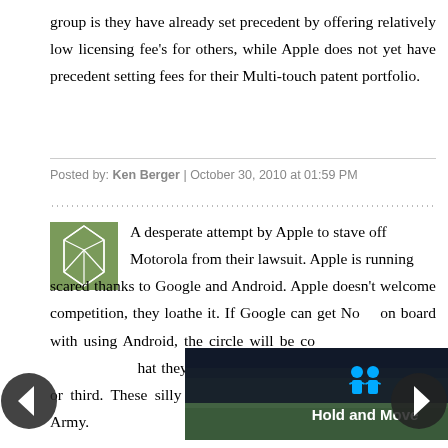group is they have already set precedent by offering relatively low licensing fee's for others, while Apple does not yet have precedent setting fees for their Multi-touch patent portfolio.
Posted by: Ken Berger | October 30, 2010 at 01:59 PM
[Figure (illustration): Green avatar icon with geometric pattern resembling a soccer ball or fragmented polygon design]
A desperate attempt by Apple to stave off Motorola from their lawsuit. Apple is running scared thanks to Google and Android. Apple doesn't welcome competition, they loathe it. If Google can get No... on board with using Android, the circle will be co... ...hat they are in the PC market: A distant second or third. These silly IP lawsuits will not stop the Android Army.
[Figure (screenshot): Advertisement overlay showing 'Hold and Move' app with dark background, two person icons, and a close button (X). Navigation arrows (left and right) are visible on the sides.]